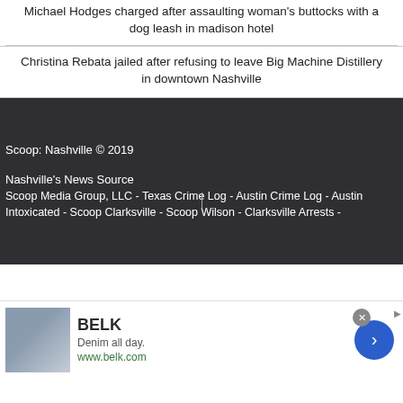Michael Hodges charged after assaulting woman's buttocks with a dog leash in madison hotel
Christina Rebata jailed after refusing to leave Big Machine Distillery in downtown Nashville
Scoop: Nashville © 2019
Nashville's News Source
Scoop Media Group, LLC - Texas Crime Log - Austin Crime Log - Austin Intoxicated - Scoop Clarksville - Scoop Wilson - Clarksville Arrests -
[Figure (screenshot): Advertisement banner for BELK: 'Denim all day. www.belk.com' with clothing images, a blue circular arrow button, and a close (x) button.]